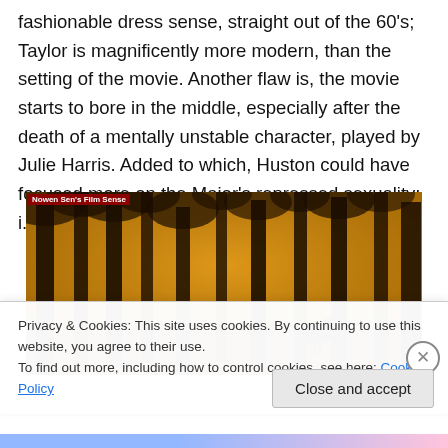fashionable dress sense, straight out of the 60's; Taylor is magnificently more modern, than the setting of the movie. Another flaw is, the movie starts to bore in the middle, especially after the death of a mentally unstable character, played by Julie Harris. Added to which, Huston could have focused more on the Major's repressed sexuality; i.e. the character played by Marlon Brando.
[Figure (photo): A sepia-toned forest scene with tall dark tree trunks and golden warmth; a horse is visible in the background among the trees. A small red watermark label reads 'Nowen Sen's Film Sense' in the top-left corner.]
Privacy & Cookies: This site uses cookies. By continuing to use this website, you agree to their use.
To find out more, including how to control cookies, see here: Cookie Policy
Close and accept